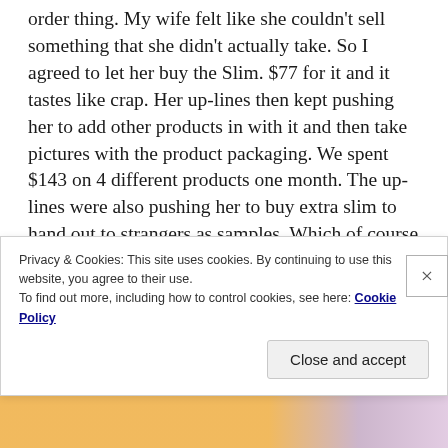order thing. My wife felt like she couldn't sell something that she didn't actually take. So I agreed to let her buy the Slim. $77 for it and it tastes like crap. Her up-lines then kept pushing her to add other products in with it and then take pictures with the product packaging. We spent $143 on 4 different products one month. The up-lines were also pushing her to buy extra slim to hand out to strangers as samples. Which of course is just more profit for the company and more loss for us. They pushed this as solely being done on social media and selling to your family and friends. When we hit a point where she exhausted a few hundred contacts from both her page and mine, they started pushing the sample thing and approaching
Privacy & Cookies: This site uses cookies. By continuing to use this website, you agree to their use.
To find out more, including how to control cookies, see here: Cookie Policy
Close and accept